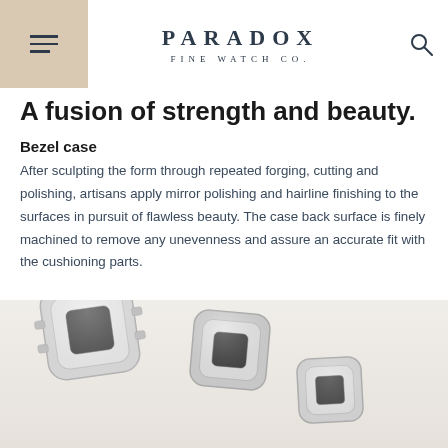PARADOX FINE WATCH CO.
A fusion of strength and beauty.
Bezel case
After sculpting the form through repeated forging, cutting and polishing, artisans apply mirror polishing and hairline finishing to the surfaces in pursuit of flawless beauty. The case back surface is finely machined to remove any unevenness and assure an accurate fit with the cushioning parts.
[Figure (photo): Photograph of multiple polished metal watch bezel cases arranged on a light gray background, showing the square/rectangular shaped cases with mirror-finished surfaces.]